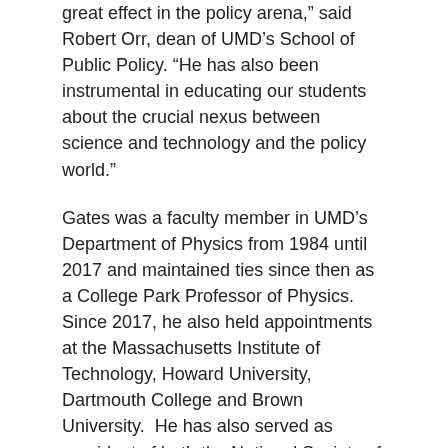great effect in the policy arena,' said Robert Orr, dean of UMD's School of Public Policy. 'He has also been instrumental in educating our students about the crucial nexus between science and technology and the policy world.'
Gates was a faculty member in UMD's Department of Physics from 1984 until 2017 and maintained ties since then as a College Park Professor of Physics. Since 2017, he also held appointments at the Massachusetts Institute of Technology, Howard University, Dartmouth College and Brown University. He has also served as president of both the National Society of Black Physicists and the American Physical Society.
“Having Jim Gates return is a boon to our entire campus,” said Steve Rolston, chair of UMD’s Department of Physics. “His international stature as an educator and science proponent is particularly crucial in our current times.”
University System of Maryland Chancellor Emeritus William E. “Brit” Kirwan has stated, “Jim is the academic version of a triple-threat…”